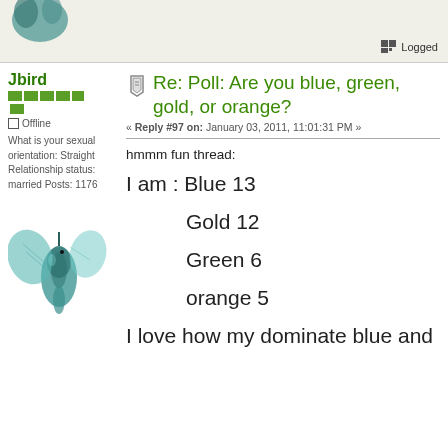[Figure (screenshot): Top avatar/header area with teal avatar image and Logged indicator]
Logged
Jbird
Offline
What is your sexual orientation: Straight Relationship status: married Posts: 1176
Re: Poll: Are you blue, green, gold, or orange?
« Reply #97 on: January 03, 2011, 11:01:31 PM »
hmmm fun thread:
I am : Blue 13
[Figure (photo): Teal hummingbird illustration]
Gold 12
Green 6
orange 5
I love how my dominate blue and